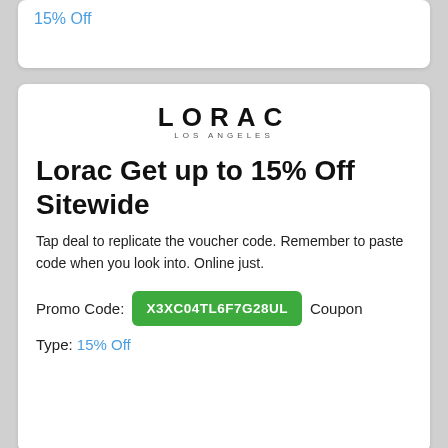15% Off
[Figure (logo): LORAC LOS ANGELES logo]
Lorac Get up to 15% Off Sitewide
Tap deal to replicate the voucher code. Remember to paste code when you look into. Online just.
Promo Code: X3XC04TL6F7G28UL Coupon
Type: 15% Off
[Figure (logo): LORAC LOS ANGELES logo]
Lorac Loracs Mini Pro Palette